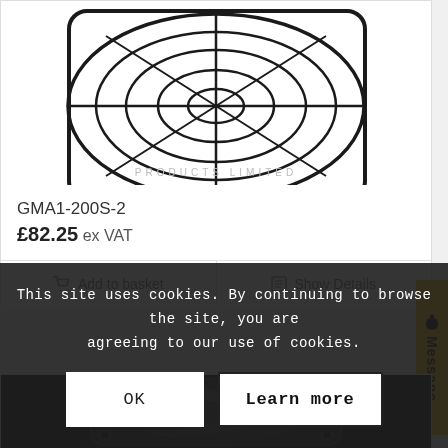[Figure (photo): Photo of a circular wire fan guard (GMA1-200S-2) against a white background with a manufacturer watermark visible]
GMA1-200S-2
£82.25 ex VAT
🛒 Add to basket  |  📋 Show Details
[Figure (photo): Photo of a black square axial fan unit against a dark background]
This site uses cookies. By continuing to browse the site, you are agreeing to our use of cookies.
OK
Learn more